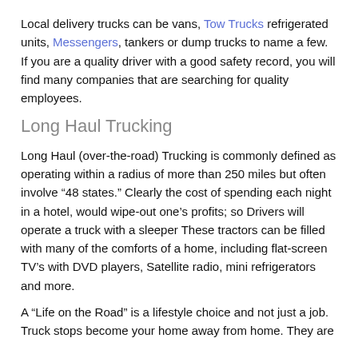Local delivery trucks can be vans, Tow Trucks refrigerated units, Messengers, tankers or dump trucks to name a few. If you are a quality driver with a good safety record, you will find many companies that are searching for quality employees.
Long Haul Trucking
Long Haul (over-the-road) Trucking is commonly defined as operating within a radius of more than 250 miles but often involve “48 states.” Clearly the cost of spending each night in a hotel, would wipe-out one’s profits; so Drivers will operate a truck with a sleeper These tractors can be filled with many of the comforts of a home, including flat-screen TV’s with DVD players, Satellite radio, mini refrigerators and more.
A “Life on the Road” is a lifestyle choice and not just a job. Truck stops become your home away from home. They are